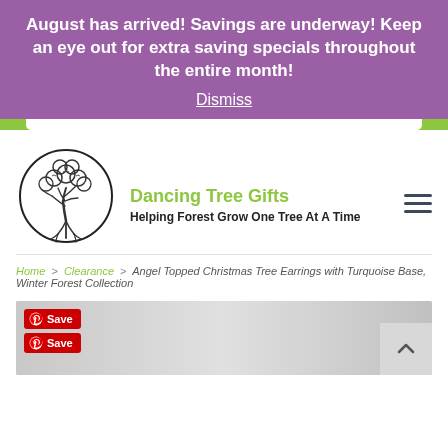August has arrived! Savings are underway! Keep an eye out for extra saving specials throughout the entire month!
Dismiss
[Figure (logo): Dancing Tree Gifts circular tree logo — line drawing of a tree with roots inside a circle]
Dancing Tree Gifts
Helping Forest Grow One Tree At A Time
Home > Clearance > Angel Topped Christmas Tree Earrings with Turquoise Base, Winter Forest Collection
[Figure (photo): Partial product image at bottom of page, greyscale, with Pinterest Save buttons overlaid]